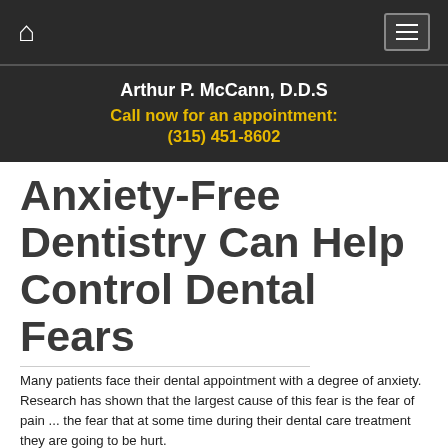Arthur P. McCann, D.D.S | Call now for an appointment: (315) 451-8602
Anxiety-Free Dentistry Can Help Control Dental Fears
Many patients face their dental appointment with a degree of anxiety. Research has shown that the largest cause of this fear is the fear of pain ... the fear that at some time during their dental care treatment they are going to be hurt.
Sedation dentists have information available about a variety of drugs known as local anesthetics, which are the safest and most effective drugs in all of medicine. Local anesthetics are a resource